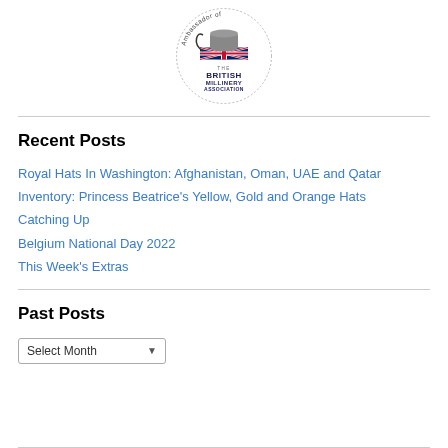[Figure (logo): Ambassador of The British Millinery Association circular logo with a hat and Union Jack flag design]
Recent Posts
Royal Hats In Washington: Afghanistan, Oman, UAE and Qatar
Inventory: Princess Beatrice's Yellow, Gold and Orange Hats
Catching Up
Belgium National Day 2022
This Week's Extras
Past Posts
Select Month